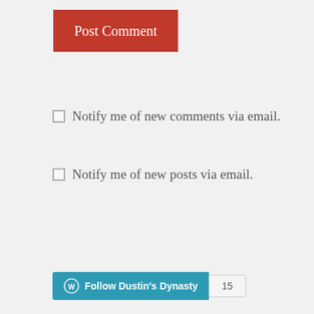Post Comment
Notify me of new comments via email.
Notify me of new posts via email.
[Figure (other): Follow Dustin's Dynasty WordPress follow button with count badge showing 15]
Subscribe to Blog via Email
Enter your email address to subscribe to this blog and receive notifications of new posts by email.
Email Address